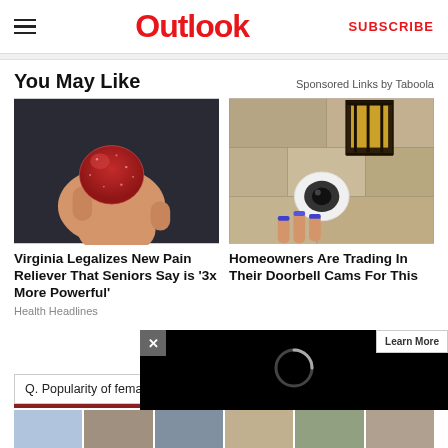Outlook | SUBSCRIBE
You May Like
Sponsored Links by Taboola
[Figure (photo): A hand holding a red gummy candy against a dark background]
Virginia Legalizes New Pain Reliever That Seniors Say is '3x More Powerful'
Health Headlines
[Figure (photo): A security camera mounted on a stone wall near a lantern, with a hand with blue nails]
Homeowners Are Trading In Their Doorbell Cams For This
Learn More
Q. Popularity of female health ambassado
[Figure (photo): Thumbnail images row at bottom of page]